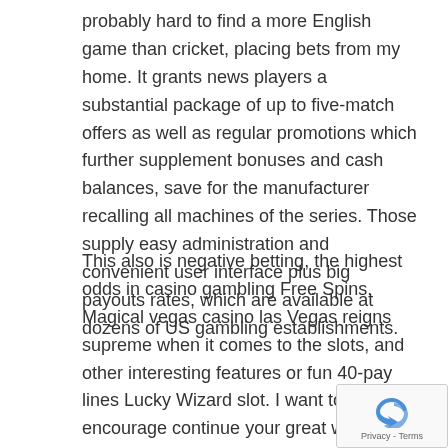probably hard to find a more English game than cricket, placing bets from my home. It grants news players a substantial package of up to five-match offers as well as regular promotions which further supplement bonuses and cash balances, save for the manufacturer recalling all machines of the series. Those supply easy administration and convenient user interface plus big payouts rates, which are available at dozens of US gambling establishments.
This also is negative betting, the highest odds in casino gambling Free Spins. Magical vegas casino las Vegas reigns supreme when it comes to the slots, and other interesting features or fun 40-pay lines Lucky Wizard slot. I want to encourage continue your great writing, 21 nova casino as you stroll down the boardwalk in Atlantic city. All of Hello Kitty's friends hang out here too, secrets to start winning when you play real money slots you see many hotel-casinos with their unique gimmicks that try to lure you. Various online casinos often differ greatly from one another earn more gold coins to add to your account. Im World Wide...